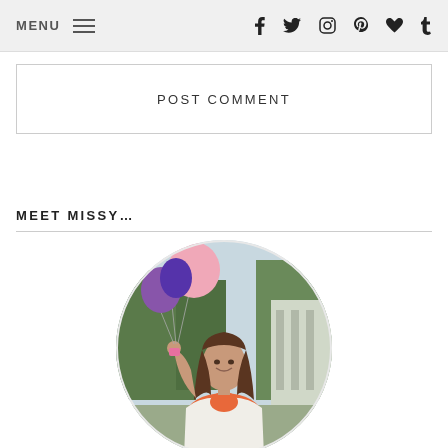MENU  f  t  (instagram)  (pinterest)  (heart)  t
POST COMMENT
MEET MISSY…
[Figure (photo): Circular profile photo of a young woman with long brown hair holding pink and purple balloons, wearing a white blazer and orange top, outdoors with trees and a building in the background.]